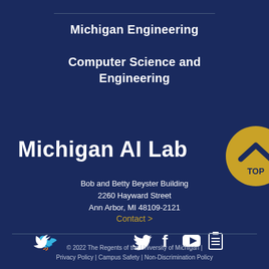Michigan Engineering
Computer Science and Engineering
Michigan AI Lab
Bob and Betty Beyster Building
2260 Hayward Street
Ann Arbor, MI 48109-2121
Contact >
[Figure (other): Social media icons: Twitter, Facebook, YouTube, and another icon]
[Figure (other): Yellow circular TOP button with chevron up icon]
© 2022 The Regents of the University of Michigan | Privacy Policy | Campus Safety | Non-Discrimination Policy